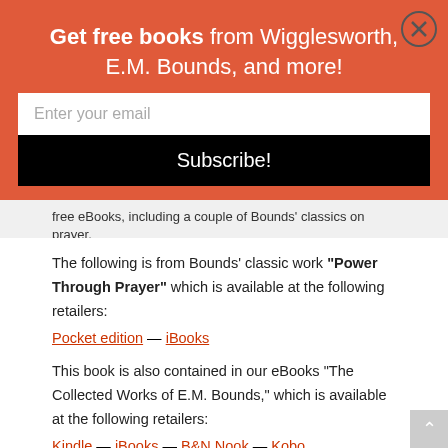Get free books from Wigglesworth, E.M. Bounds, and more!
[Figure (screenshot): Email subscription popup with orange/red background, email input field, and Subscribe! button]
free eBooks, including a couple of Bounds' classics on prayer.
The following is from Bounds' classic work "Power Through Prayer" which is available at the following retailers:
Pocket edition — iBooks
This book is also contained in our eBooks "The Collected Works of E.M. Bounds," which is available at the following retailers:
Kindle — iBooks — B&N Nook — Kobo
Lastly, his collected works are available in print on Amazon. It is a large volume, but sure to look great on your bookshelf or coffee table.